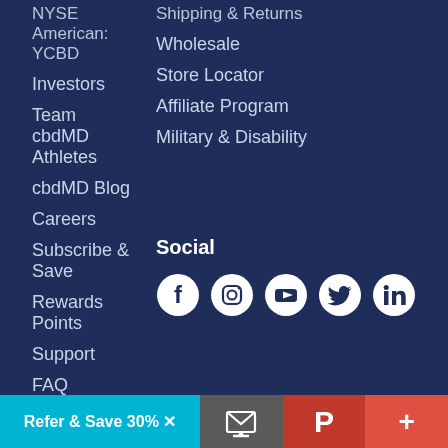NYSE American: YCBD
Investors
Team cbdMD Athletes
cbdMD Blog
Careers
Subscribe & Save
Rewards Points
Support
FAQ
Shipping & Returns
Wholesale
Store Locator
Affiliate Program
Military & Disability
Legal
Social
COA / Lab Results
Privacy Policy
Terms & Conditions
ADA Compliance
[Figure (infographic): Social media icons: Facebook, Instagram, YouTube, Twitter, LinkedIn]
Refer & Save 30% X | email icon | Pinterest icon | plus icon